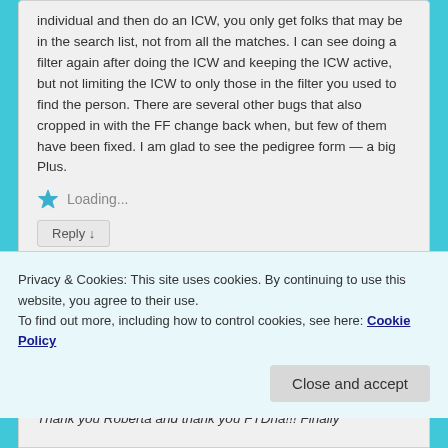individual and then do an ICW, you only get folks that may be in the search list, not from all the matches. I can see doing a filter again after doing the ICW and keeping the ICW active, but not limiting the ICW to only those in the filter you used to find the person. There are several other bugs that also cropped in with the FF change back when, but few of them have been fixed. I am glad to see the pedigree form — a big Plus.
Loading...
Reply ↓
Privacy & Cookies: This site uses cookies. By continuing to use this website, you agree to their use.
To find out more, including how to control cookies, see here: Cookie Policy
Close and accept
Thank you Roberta and thank you FTDna!!! Finally